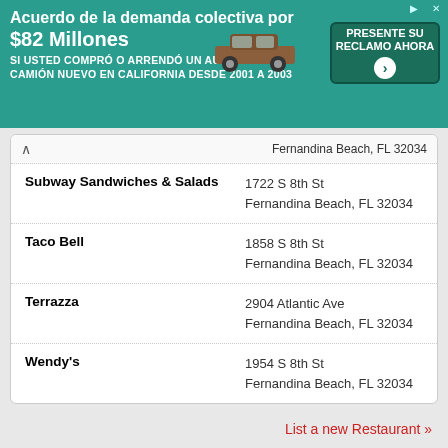[Figure (infographic): Advertisement banner for a Spanish-language class action lawsuit settlement: 'Acuerdo de la demanda colectiva por $82 Millones' with car image and green 'PRESENTE SU RECLAMO AHORA' button]
| Name | Address |
| --- | --- |
|  | Fernandina Beach, FL 32034 |
| Subway Sandwiches & Salads | 1722 S 8th St
Fernandina Beach, FL 32034 |
| Taco Bell | 1858 S 8th St
Fernandina Beach, FL 32034 |
| Terrazza | 2904 Atlantic Ave
Fernandina Beach, FL 32034 |
| Wendy's | 1954 S 8th St
Fernandina Beach, FL 32034 |
List a new Restaurant »
Crime rates
Crime Rates in Fernandina Beach